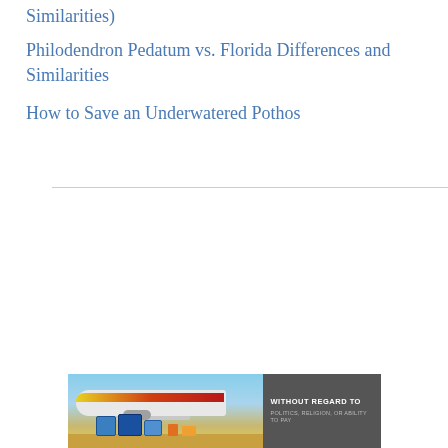Similarities)
Philodendron Pedatum vs. Florida Differences and Similarities
How to Save an Underwatered Pothos
[Figure (photo): Advertisement banner with an airplane being loaded with cargo and text panel reading WITHOUT REGARD TO POLITICS, RELIGION, OR ABILITY TO PAY]